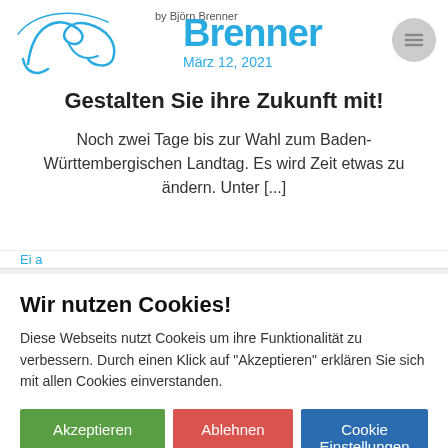by Björn Brenner · März 12, 2021 · Björn Brenner
Gestalten Sie ihre Zukunft mit!
Noch zwei Tage bis zur Wahl zum Baden-Württembergischen Landtag. Es wird Zeit etwas zu ändern. Unter [...]
Wir nutzen Cookies!
Diese Webseits nutzt Cookeis um ihre Funktionalität zu verbessern. Durch einen Klick auf "Akzeptieren" erklären Sie sich mit allen Cookies einverstanden.
Akzeptieren
Ablehnen
Cookie Einstellungen
Datenschutz